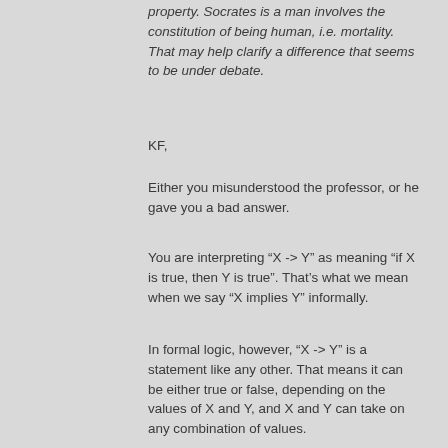property. Socrates is a man involves the constitution of being human, i.e. mortality. That may help clarify a difference that seems to be under debate.
KF,
Either you misunderstood the professor, or he gave you a bad answer.
You are interpreting “X -> Y” as meaning “if X is true, then Y is true”. That’s what we mean when we say “X implies Y” informally.
In formal logic, however, “X -> Y” is a statement like any other. That means it can be either true or false, depending on the values of X and Y, and X and Y can take on any combination of values.
X and Y also need not have anything to do with each other. Regardless of what X and Y stand for, the value of “X -> Y” can be obtained from the